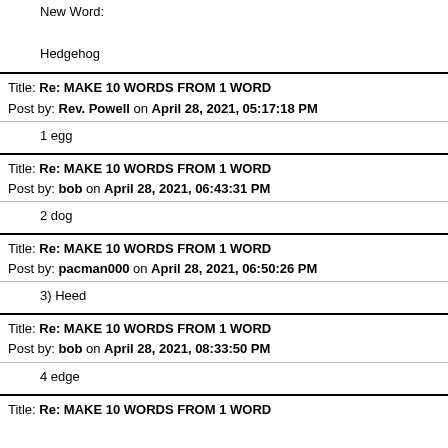New Word:
Hedgehog
Title: Re: MAKE 10 WORDS FROM 1 WORD
Post by: Rev. Powell on April 28, 2021, 05:17:18 PM
1 egg
Title: Re: MAKE 10 WORDS FROM 1 WORD
Post by: bob on April 28, 2021, 06:43:31 PM
2 dog
Title: Re: MAKE 10 WORDS FROM 1 WORD
Post by: pacman000 on April 28, 2021, 06:50:26 PM
3) Heed
Title: Re: MAKE 10 WORDS FROM 1 WORD
Post by: bob on April 28, 2021, 08:33:50 PM
4 edge
Title: Re: MAKE 10 WORDS FROM 1 WORD